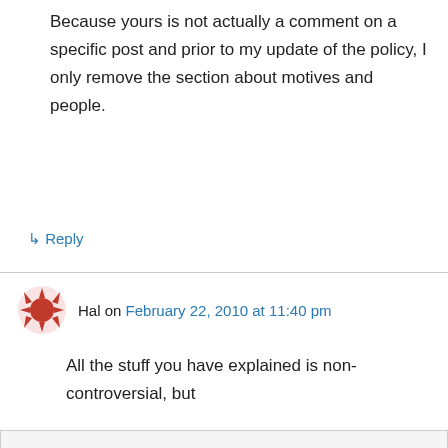Because yours is not actually a comment on a specific post and prior to my update of the policy, I only remove the section about motives and people.
↳ Reply
Hal on February 22, 2010 at 11:40 pm
All the stuff you have explained is non-controversial, but
Privacy & Cookies: This site uses cookies. By continuing to use this website, you agree to their use.
To find out more, including how to control cookies, see here: Cookie Policy
Close and accept
Lindzen constrained to about 0.5°C